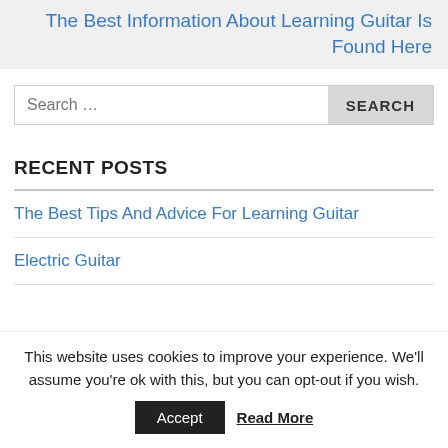The Best Information About Learning Guitar Is Found Here
RECENT POSTS
The Best Tips And Advice For Learning Guitar
Electric Guitar
This website uses cookies to improve your experience. We'll assume you're ok with this, but you can opt-out if you wish.